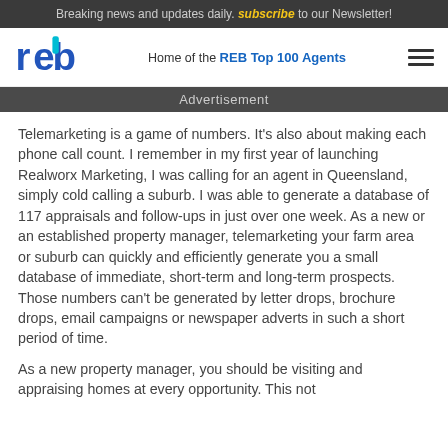Breaking news and updates daily. subscribe to our Newsletter!
reb — Home of the REB Top 100 Agents
Advertisement
Telemarketing is a game of numbers. It's also about making each phone call count. I remember in my first year of launching Realworx Marketing, I was calling for an agent in Queensland, simply cold calling a suburb. I was able to generate a database of 117 appraisals and follow-ups in just over one week. As a new or an established property manager, telemarketing your farm area or suburb can quickly and efficiently generate you a small database of immediate, short-term and long-term prospects. Those numbers can't be generated by letter drops, brochure drops, email campaigns or newspaper adverts in such a short period of time.
As a new property manager, you should be visiting and appraising homes at every opportunity. This not